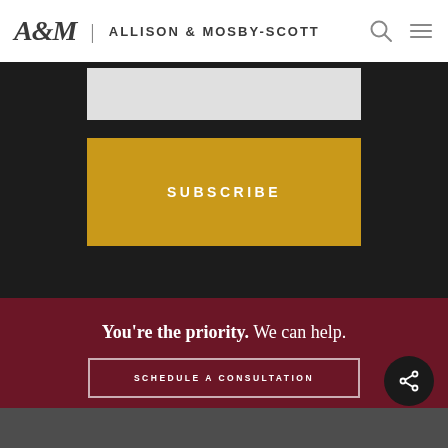A&M | ALLISON & MOSBY-SCOTT
[Figure (screenshot): Input field area (light gray box)]
SUBSCRIBE
You're the priority. We can help.
SCHEDULE A CONSULTATION